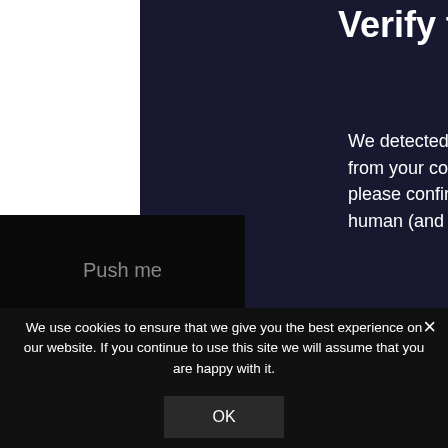Verify to conti
We detected a high number of from your connection. To conti please confirm that youâ€™re human (and not a spambot).
[Figure (screenshot): reCAPTCHA checkbox widget with 'I'm not a robot' label and small reCAPTCHA branding on the right]
Push me
We use cookies to ensure that we give you the best experience on our website. If you continue to use this site we will assume that you are happy with it.
OK
×